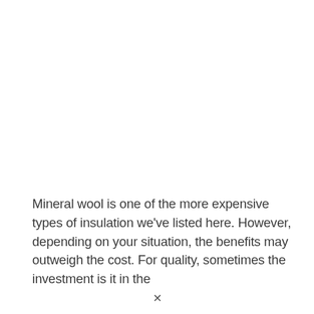Mineral wool is one of the more expensive types of insulation we've listed here. However, depending on your situation, the benefits may outweigh the cost. For quality, sometimes the investment is it in the